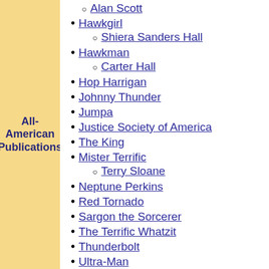All-American Publications
Alan Scott
Hawkgirl
Shiera Sanders Hall
Hawkman
Carter Hall
Hop Harrigan
Johnny Thunder
Jumpa
Justice Society of America
The King
Mister Terrific
Terry Sloane
Neptune Perkins
Red Tornado
Sargon the Sorcerer
The Terrific Whatzit
Thunderbolt
Ultra-Man
The Whip
Wildcat
Ted Grant
Wonder Woman
Diana Prince
Airman